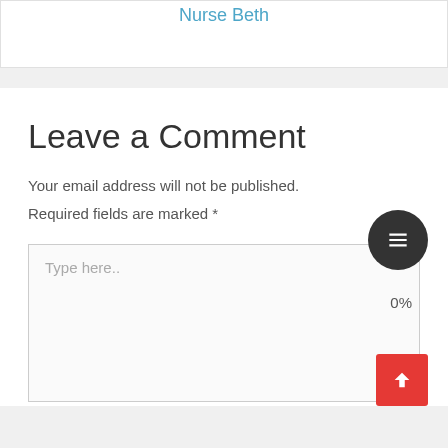Nurse Beth
Leave a Comment
Your email address will not be published.
Required fields are marked *
Type here..
0%